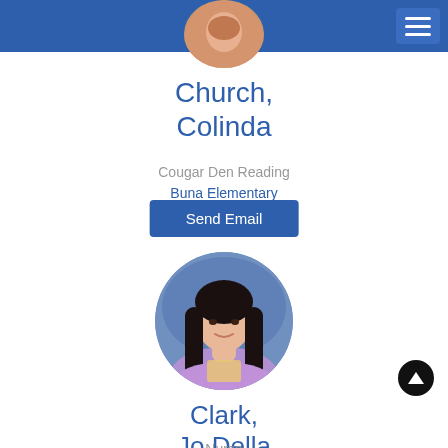[Figure (photo): Partial circular profile photo of a person, cropped at top of page]
Church, Colinda
Cougar Den Reading
Buna Elementary
Send Email
[Figure (photo): Circular profile photo of Jo Della Clark, a woman with long dark hair wearing a purple shirt, photographed against a blue background]
Clark, Jo Della
Nurse